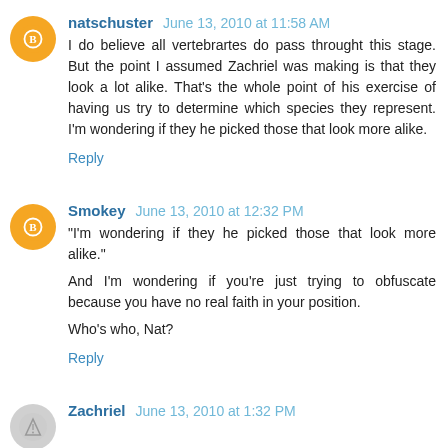natschuster  June 13, 2010 at 11:58 AM
I do believe all vertebrartes do pass throught this stage. But the point I assumed Zachriel was making is that they look a lot alike. That's the whole point of his exercise of having us try to determine which species they represent. I'm wondering if they he picked those that look more alike.
Reply
Smokey  June 13, 2010 at 12:32 PM
"I'm wondering if they he picked those that look more alike."
And I'm wondering if you're just trying to obfuscate because you have no real faith in your position.
Who's who, Nat?
Reply
Zachriel  June 13, 2010 at 1:32 PM